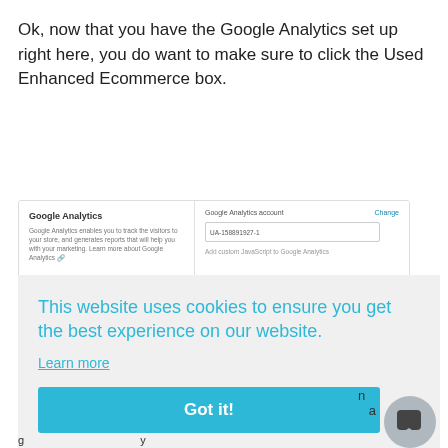Ok, now that you have the Google Analytics set up right here, you do want to make sure to click the Used Enhanced Ecommerce box.
[Figure (screenshot): Screenshot of Google Analytics settings panel in a Shopify-like interface, showing Google Analytics section with an account field containing 'UA-158891927-1' and a Change link. A cookie consent overlay reads 'This website uses cookies to ensure you get the best experience on our website.' with a 'Learn more' link and a blue 'Got it!' button. A chat widget icon appears in the bottom right. Partial text 'and' visible at right edge and partial text at bottom left.]